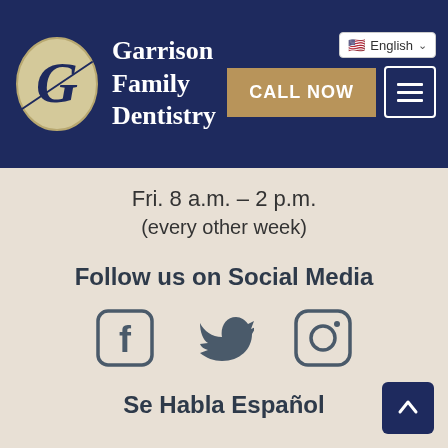[Figure (logo): Garrison Family Dentistry logo with stylized G and dental imagery on navy background header]
Fri. 8 a.m. – 2 p.m.
(every other week)
Follow us on Social Media
[Figure (illustration): Social media icons: Facebook, Twitter, Instagram]
Se Habla Español